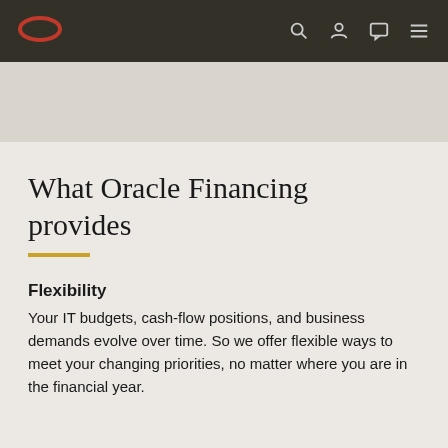Oracle logo and navigation icons
What Oracle Financing provides
Flexibility
Your IT budgets, cash-flow positions, and business demands evolve over time. So we offer flexible ways to meet your changing priorities, no matter where you are in the financial year.